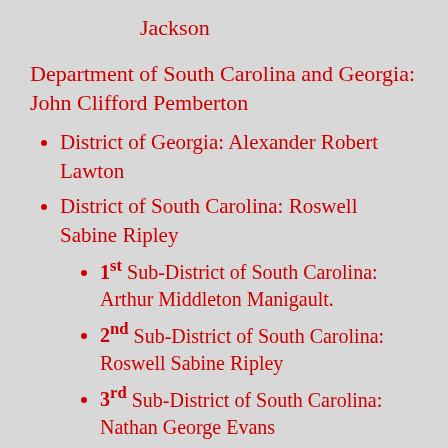Jackson
Department of South Carolina and Georgia: John Clifford Pemberton
District of Georgia: Alexander Robert Lawton
District of South Carolina: Roswell Sabine Ripley
1st Sub-District of South Carolina: Arthur Middleton Manigault.
2nd Sub-District of South Carolina: Roswell Sabine Ripley
3rd Sub-District of South Carolina: Nathan George Evans
4th Sub-District of South Carolina: Maxcy